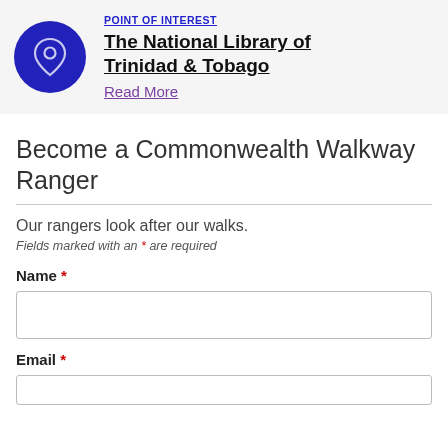[Figure (illustration): Dark blue circle with a location pin icon in white/outline style]
POINT OF INTEREST
The National Library of Trinidad & Tobago
Read More
Become a Commonwealth Walkway Ranger
Our rangers look after our walks.
Fields marked with an * are required
Name *
Email *